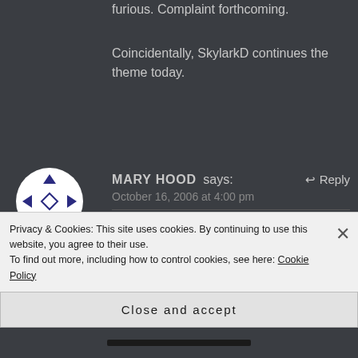furious. Complaint forthcoming.
Coincidentally, SkylarkD continues the theme today.
MARY HOOD says:
October 16, 2006 at 4:00 pm
Ahhhhhh!!!!!And Barbie still lives! There are still people who buy into it with the excuse that " Barbies at their
Privacy & Cookies: This site uses cookies. By continuing to use this website, you agree to their use.
To find out more, including how to control cookies, see here: Cookie Policy
Close and accept